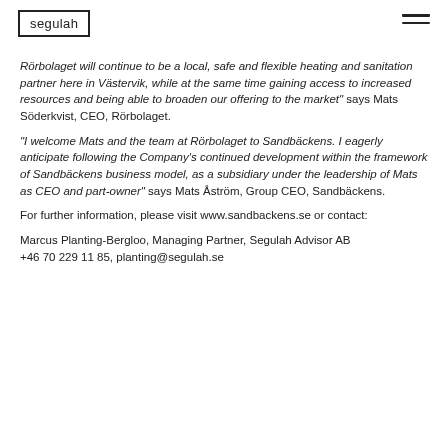segulah
Rörbolaget will continue to be a local, safe and flexible heating and sanitation partner here in Västervik, while at the same time gaining access to increased resources and being able to broaden our offering to the market" says Mats Söderkvist, CEO, Rörbolaget.
"I welcome Mats and the team at Rörbolaget to Sandbäckens. I eagerly anticipate following the Company's continued development within the framework of Sandbäckens business model, as a subsidiary under the leadership of Mats as CEO and part-owner" says Mats Åström, Group CEO, Sandbäckens.
For further information, please visit www.sandbackens.se or contact:
Marcus Planting-Bergloo, Managing Partner, Segulah Advisor AB
+46 70 229 11 85, planting@segulah.se